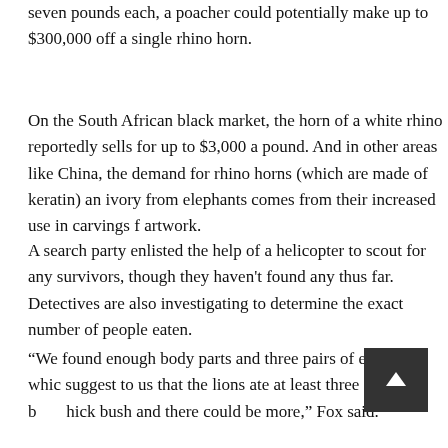seven pounds each, a poacher could potentially make up to $300,000 off a single rhino horn.
On the South African black market, the horn of a white rhino reportedly sells for up to $3,000 a pound. And in other areas like China, the demand for rhino horns (which are made of keratin) and ivory from elephants comes from their increased use in carvings for artwork.
A search party enlisted the help of a helicopter to scout for any survivors, though they haven't found any thus far. Detectives are also investigating to determine the exact number of people eaten.
“We found enough body parts and three pairs of empty shoes, which suggest to us that the lions ate at least three of them before going into the bush and there could be more,” Fox said.